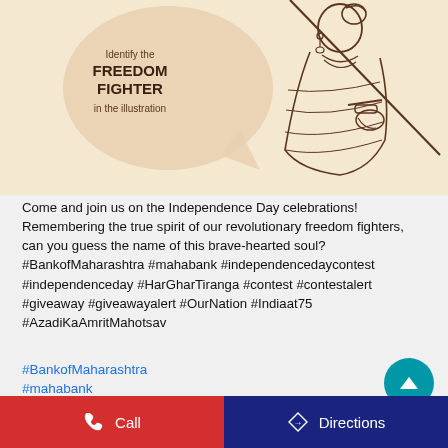[Figure (illustration): Line art illustration of a female freedom fighter holding a sword, wearing traditional Indian attire with jewelry, on a beige/cream background. A speech bubble on the left reads 'Identify the FREEDOM FIGHTER in the illustration'.]
Come and join us on the Independence Day celebrations! Remembering the true spirit of our revolutionary freedom fighters, can you guess the name of this brave-hearted soul? #BankofMaharashtra #mahabank #independencedaycontest #independenceday #HarGharTiranga #contest #contestalert #giveaway #giveawayalert #OurNation #Indiaat75 #AzadiKaAmritMahotsav
#BankofMaharashtra
#mahabank
#independencedaycontest
Call   Directions